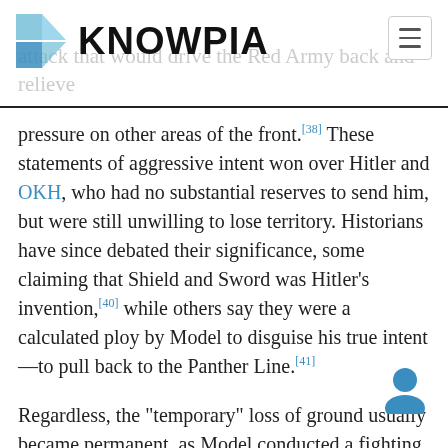KNOWPIA
pressure on other areas of the front.[38] These statements of aggressive intent won over Hitler and OKH, who had no substantial reserves to send him, but were still unwilling to lose territory. Historians have since debated their significance, some claiming that Shield and Sword was Hitler's invention,[40] while others say they were a calculated ploy by Model to disguise his true intent—to pull back to the Panther Line.[41]
Regardless, the "temporary" loss of ground usually became permanent, as Model conducted a fighting withdrawal to the Panther Line. He delegated responsibility for the Narva front to Johannes Friessner commanding Army Detachment Narva, while